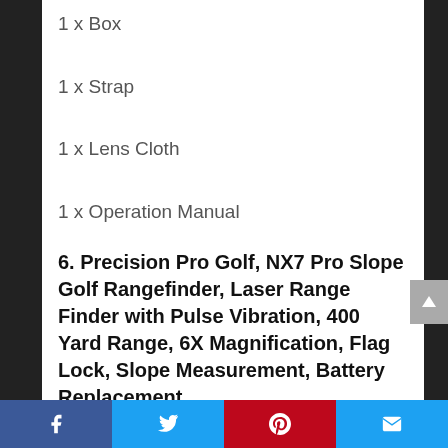1 x Box
1 x Strap
1 x Lens Cloth
1 x Operation Manual
6. Precision Pro Golf, NX7 Pro Slope Golf Rangefinder, Laser Range Finder with Pulse Vibration, 400 Yard Range, 6X Magnification, Flag Lock, Slope Measurement, Battery Replacement